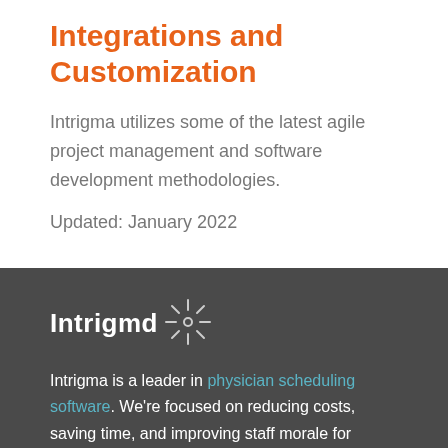Integrations and Customization
Intrigma utilizes some of the latest agile project management and software development methodologies.
Updated: January 2022
[Figure (logo): Intrigma logo with sunburst icon on dark gray background]
Intrigma is a leader in physician scheduling software. We're focused on reducing costs, saving time, and improving staff morale for physicians, medical groups, hospitals, and nurses.